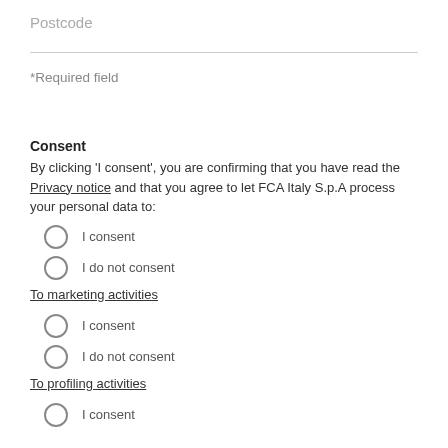Postcode
*Required field
Consent
By clicking 'I consent', you are confirming that you have read the Privacy notice and that you agree to let FCA Italy S.p.A process your personal data to:
I consent
I do not consent
To marketing activities
I consent
I do not consent
To profiling activities
I consent